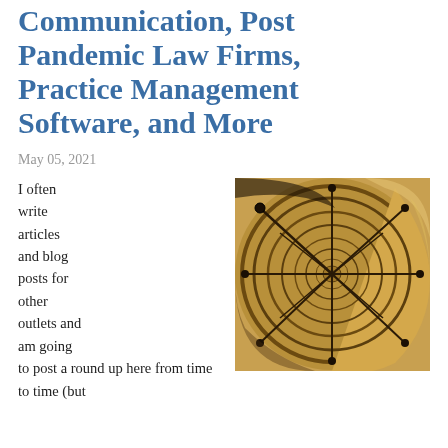Communication, Post Pandemic Law Firms, Practice Management Software, and More
May 05, 2021
[Figure (photo): Aerial view looking down a spiral staircase with golden/sepia tones, showing ornate railings and banisters curling inward.]
I often write articles and blog posts for other outlets and am going to post a round up here from time to time (but